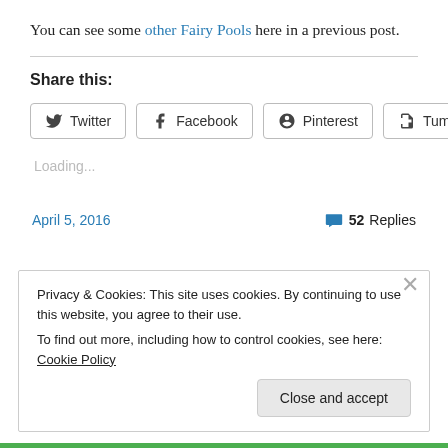You can see some other Fairy Pools here in a previous post.
Share this:
Twitter  Facebook  Pinterest  Tumblr
Loading...
April 5, 2016
52 Replies
Privacy & Cookies: This site uses cookies. By continuing to use this website, you agree to their use.
To find out more, including how to control cookies, see here: Cookie Policy
Close and accept